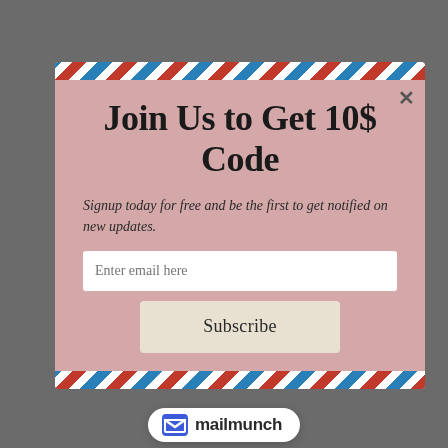[Figure (screenshot): Modal popup dialog with airmail-style red and blue striped border on a pinkish-rose background, overlaid on a dimmed webpage showing women in a photo. Contains a close X button, title, subtitle text, email input field, subscribe button, and Mailmunch branding at the bottom.]
Join Us to Get 10$ Code
Signup today for free and be the first to get notified on new updates.
Enter email here
Subscribe
mailmunch